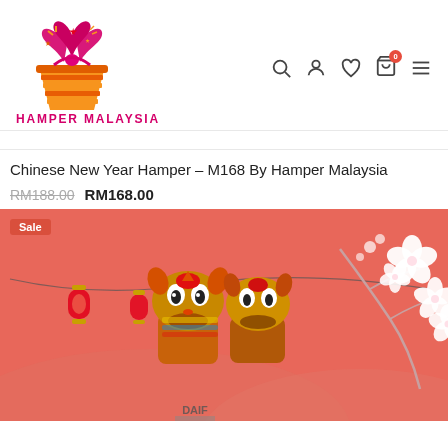[Figure (logo): Hamper Malaysia logo: colorful gift basket with stars and bow, above text HAMPER MALAYSIA in magenta/pink bold letters]
Chinese New Year Hamper – M168 By Hamper Malaysia
RM188.00  RM168.00
[Figure (photo): Product image with coral/salmon background showing two lion dance figurines on a red lantern backdrop with white cherry blossoms on the right. A 'Sale' badge is in the top-left corner. Text 'DAIF' visible at bottom of the lion dance figures.]